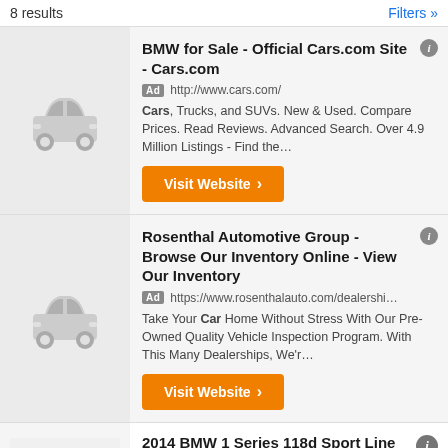8 results
Filters »
BMW for Sale - Official Cars.com Site - Cars.com
Ad http://www.cars.com/
Cars, Trucks, and SUVs. New & Used. Compare Prices. Read Reviews. Advanced Search. Over 4.9 Million Listings - Find the…
Visit Website
Rosenthal Automotive Group - Browse Our Inventory Online - View Our Inventory
Ad https://www.rosenthalauto.com/dealershi…
Take Your Car Home Without Stress With Our Pre-Owned Quality Vehicle Inspection Program. With This Many Dealerships, We'r…
Visit Website
2014 BMW 1 Series 118d Sport Line For Sale In Coimbatore
Coimbatore
Rs 14.9 lakhs
3 days ago